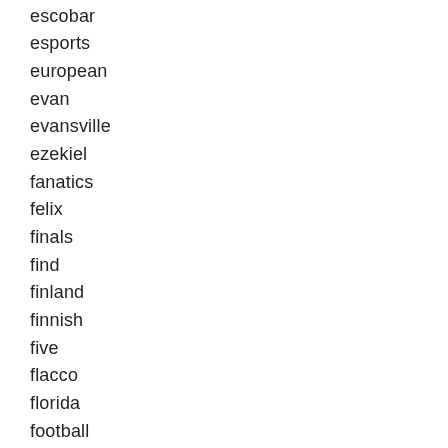escobar
esports
european
evan
evansville
ezekiel
fanatics
felix
finals
find
finland
finnish
five
flacco
florida
football
force
former
fougere
framed
francis